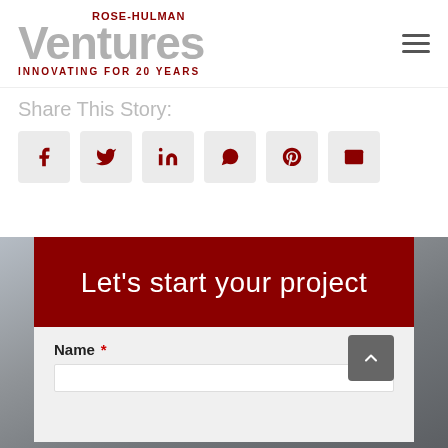[Figure (logo): Rose-Hulman Ventures logo with 'INNOVATING FOR 20 YEARS' tagline]
Share This Story:
[Figure (infographic): Row of 6 social share icon buttons: Facebook, Twitter, LinkedIn, WhatsApp, Pinterest, Email]
[Figure (photo): Dark metallic background photo with industrial/engineering texture]
Let's start your project
Name *